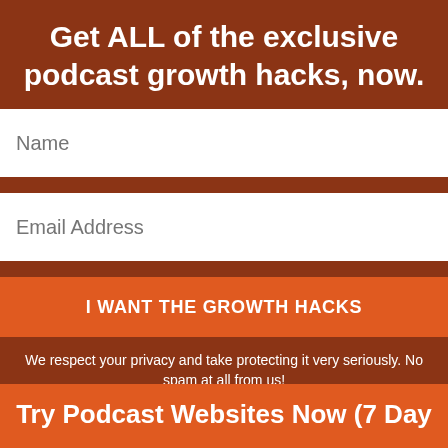Get ALL of the exclusive podcast growth hacks, now.
Name
Email Address
I WANT THE GROWTH HACKS
We respect your privacy and take protecting it very seriously. No spam at all from us!
We will send you the Growth Hacks and also news and content relating to podcasting or Podcast Websites' products and services that help podcasters.
Try Podcast Websites Now (7 Day